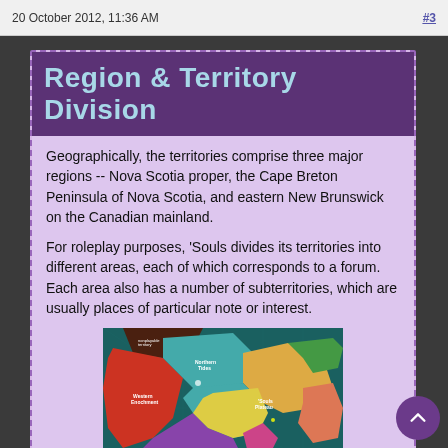20 October 2012, 11:36 AM   #3
Region & Territory Division
Geographically, the territories comprise three major regions -- Nova Scotia proper, the Cape Breton Peninsula of Nova Scotia, and eastern New Brunswick on the Canadian mainland.
For roleplay purposes, 'Souls divides its territories into different areas, each of which corresponds to a forum. Each area also has a number of subterritories, which are usually places of particular note or interest.
[Figure (map): Colored map showing regions of Nova Scotia and surrounding areas divided into roleplay territories with labels such as Northern Tides, Western Enochement, 'Souls Plateau, Seabreeze End]